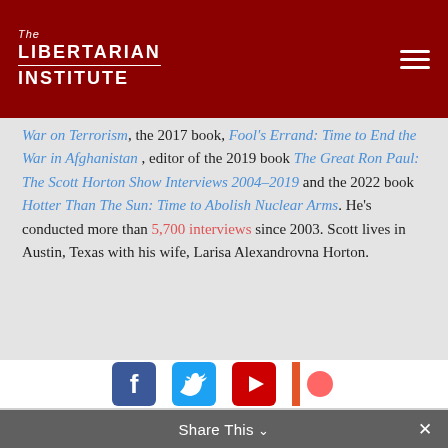The Libertarian Institute
War on Terrorism, the 2017 book, Fool's Errand: Time to End the War in Afghanistan , editor of the 2019 book The Great Ron Paul: The Scott Horton Show Interviews 2004–2019 and the 2022 book Hotter Than The Sun: Time to Abolish Nuclear Arms. He's conducted more than 5,700 interviews since 2003. Scott lives in Austin, Texas with his wife, Larisa Alexandrovna Horton.
[Figure (other): Social media icons: Facebook, Twitter, YouTube, Patreon]
Share This